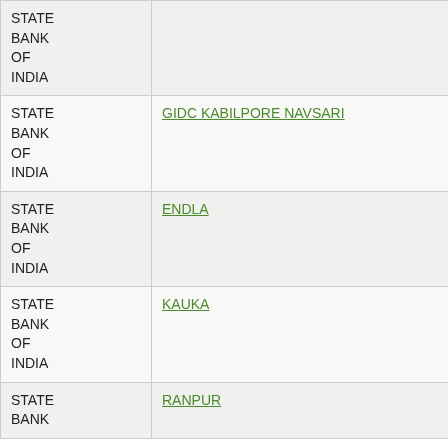| Bank | Branch | IFSC | PIN |
| --- | --- | --- | --- |
| STATE BANK OF INDIA |  |  |  |
| STATE BANK OF INDIA | GIDC KABILPORE NAVSARI | SBIN0008070 | 39600... |
| STATE BANK OF INDIA | ENDLA | SBIN0008242 | 38200... |
| STATE BANK OF INDIA | KAUKA | SBIN0008243 | 38200... |
| STATE BANK OF INDIA | RANPUR | SBIN0008339 | 36300... |